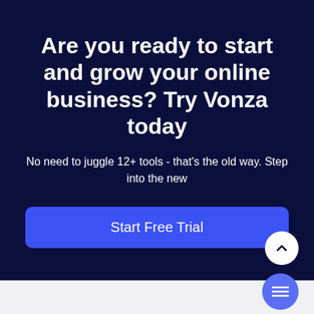Are you ready to start and grow your online business? Try Vonza today
No need to juggle 12+ tools - that's the old way. Step into the new
[Figure (other): Blue 'Start Free Trial' call-to-action button with rounded corners]
[Figure (other): White circular scroll-up arrow button in bottom right area]
[Figure (other): Purple/blue circular hamburger menu button in bottom right corner]